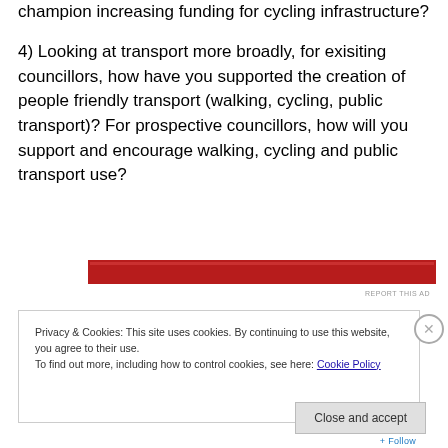champion increasing funding for cycling infrastructure?
4) Looking at transport more broadly, for exisiting councillors, how have you supported the creation of people friendly transport (walking, cycling, public transport)? For prospective councillors, how will you support and encourage walking, cycling and public transport use?
[Figure (other): Red advertisement banner]
REPORT THIS AD
Privacy & Cookies: This site uses cookies. By continuing to use this website, you agree to their use.
To find out more, including how to control cookies, see here: Cookie Policy
Close and accept